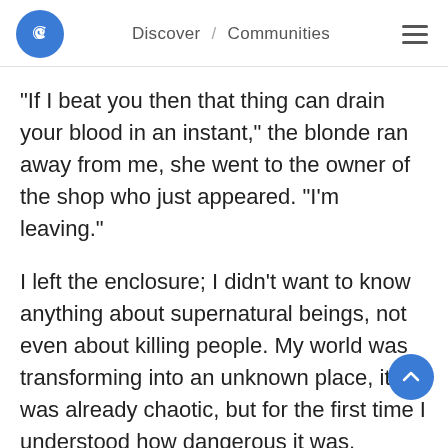Discover / Communities
“If I beat you then that thing can drain your blood in an instant," the blonde ran away from me, she went to the owner of the shop who just appeared. “I’m leaving.”
I left the enclosure; I didn't want to know anything about supernatural beings, not even about killing people. My world was transforming into an unknown place, it was already chaotic, but for the first time I understood how dangerous it was.
I didn’t even take three steps